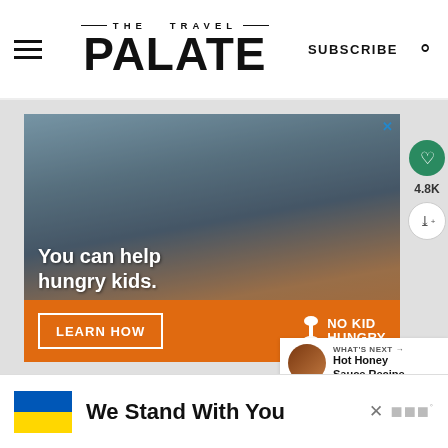THE TRAVEL PALATE
SUBSCRIBE
[Figure (photo): Advertisement from No Kid Hungry showing a young child eating, with text 'You can help hungry kids.' and a 'LEARN HOW' button on an orange background with No Kid Hungry logo.]
4.8K
WHAT'S NEXT → Hot Honey Sauce Recipe
We Stand With You